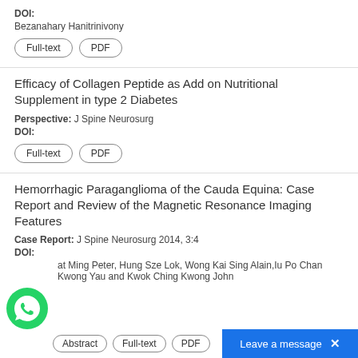DOI:
Bezanahary Hanitrinivony
Full-text  PDF
Efficacy of Collagen Peptide as Add on Nutritional Supplement in type 2 Diabetes
Perspective: J Spine Neurosurg
DOI:
Full-text  PDF
Hemorrhagic Paraganglioma of the Cauda Equina: Case Report and Review of the Magnetic Resonance Imaging Features
Case Report: J Spine Neurosurg 2014, 3:4
DOI:
at Ming Peter, Hung Sze Lok, Wong Kai Sing Alain, Iu Po Chan Kwong Yau and Kwok Ching Kwong John
Abstract  Full-text  PDF
Leave a message  ×